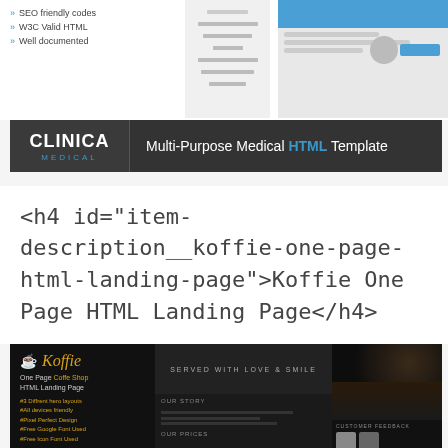» SEO friendly codes
» W3C Valid HTML
» Well documented
[Figure (screenshot): Clinica Medical HTML Template banner with logo and tagline: Multi-Purpose Medical HTML Template]
<h4 id="item-description__koffie-one-page-html-landing-page">Koffie One Page HTML Landing Page</h4>
[Figure (screenshot): Koffie One Page Coffee Shop HTML Landing Page preview showing dark themed template with logo, features list, and multiple page screenshots]